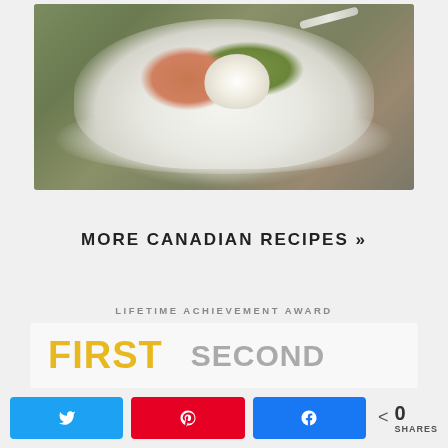[Figure (photo): Food photo of a white bowl containing a fruit crumble or crisp with a scoop of ice cream and a spoon, served on a white plate on a wooden surface]
MORE CANADIAN RECIPES »
LIFETIME ACHIEVEMENT AWARD
[Figure (logo): Award banner showing FIRST in gold/yellow and SECOND in gray text]
0 SHARES